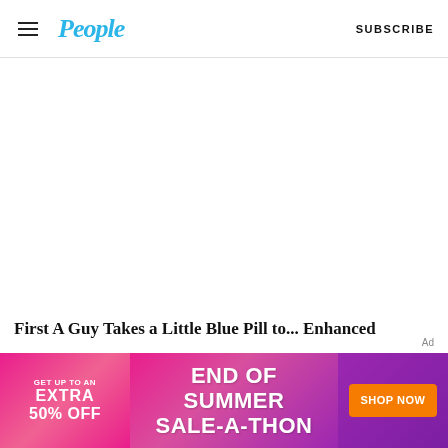People | SUBSCRIBE
[Figure (screenshot): Blank white content area of a People magazine webpage]
First A Guy Takes a Little Blue Pill to... Enhanced
Ad
[Figure (infographic): END OF SUMMER SALE-A-THON advertisement banner with pink/purple gradient. Left side: GET UP TO AN EXTRA 50% OFF. Center: END OF SUMMER SALE-A-THON. Right: orange SHOP NOW button.]